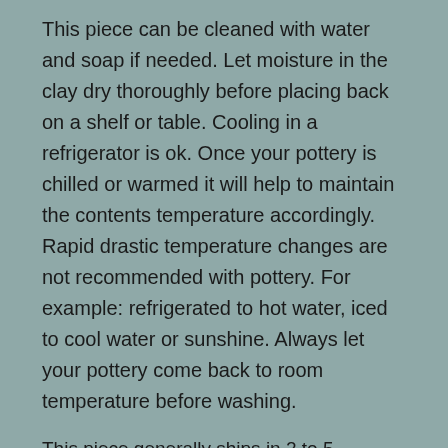This piece can be cleaned with water and soap if needed. Let moisture in the clay dry thoroughly before placing back on a shelf or table. Cooling in a refrigerator is ok. Once your pottery is chilled or warmed it will help to maintain the contents temperature accordingly. Rapid drastic temperature changes are not recommended with pottery. For example: refrigerated to hot water, iced to cool water or sunshine. Always let your pottery come back to room temperature before washing.
This piece generally ships in 2 to 5 business days.
About Canyon Meadows Pottery
This Pottery is made of Hi-Fire Stoneware, it is durable, vibrant, colorful and is functional or decorative. Our goal in designing this pottery was to focus on the popular